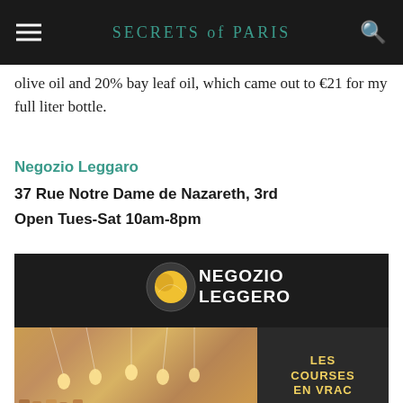SECRETS of PARIS
olive oil and 20% bay leaf oil, which came out to €21 for my full liter bottle.
Negozio Leggaro
37 Rue Notre Dame de Nazareth, 3rd
Open Tues-Sat 10am-8pm
[Figure (photo): Exterior view of Negozio Leggaro store front at night, showing illuminated sign with yellow circle logo and 'NEGOZIO LEGGERO' text on dark background, store interior visible with warm lighting and shelves of products, dark right panel with 'LES COURSES EN VRAC' in yellow text]